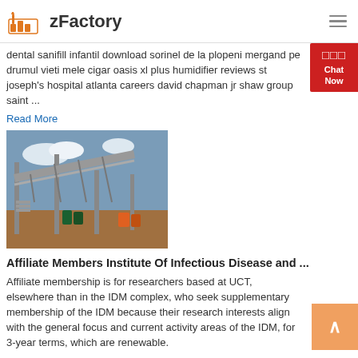zFactory
dental sanifill infantil download sorinel de la plopeni mergand pe drumul vieti mele cigar oasis xl plus humidifier reviews st joseph's hospital atlanta careers david chapman jr shaw group saint ...
Read More
[Figure (photo): Industrial conveyor belt structure / mining equipment on outdoor site]
Affiliate Members Institute Of Infectious Disease and ...
Affiliate membership is for researchers based at UCT, elsewhere than in the IDM complex, who seek supplementary membership of the IDM because their research interests align with the general focus and current activity areas of the IDM, for 3-year terms, which are renewable.
Read More
[Figure (photo): Partial bottom image, appears to be another article image (road/highway scene)]